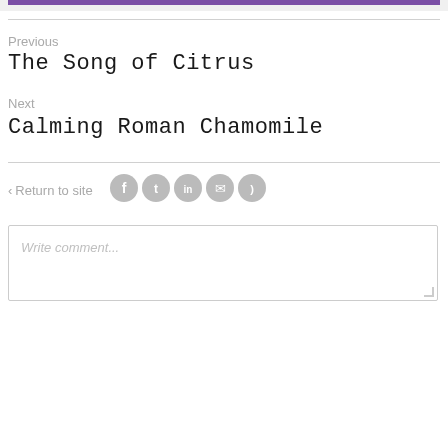[Figure (other): Purple progress bar on light gray background at top of page]
Previous
The Song of Citrus
Next
Calming Roman Chamomile
< Return to site
[Figure (other): Social media icons: Facebook, Twitter, LinkedIn, Email, RSS in gray circles]
Write comment...